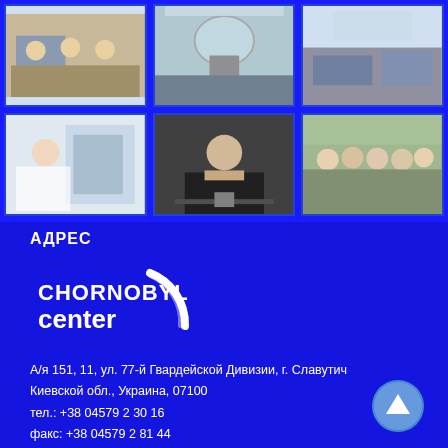[Figure (photo): Grid of 6 photos: people at desks, Chernobyl sarcophagus dome, sports hall, lab worker, man at podium, group of people outdoors]
АДРЕС
[Figure (logo): Chornobyl Center logo - white text with circular arc graphic on blue background]
А/я 151, 11, ул. 77-й Гвардейской Дивизии, г. Славутич Киевской обл., Украина, 07100
тел.: +38 04579 2 30 16
факс: +38 04579 2 81 44
e-mail: center@chornobyl.net